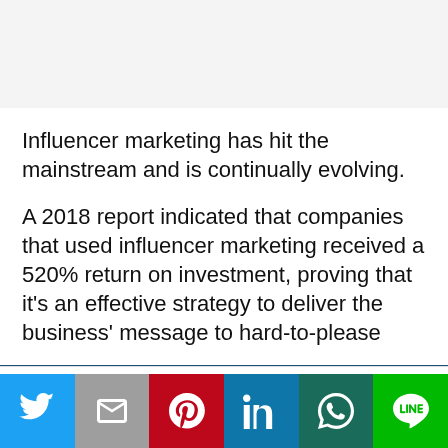Influencer marketing has hit the mainstream and is continually evolving.
A 2018 report indicated that companies that used influencer marketing received a 520% return on investment, proving that it’s an effective strategy to deliver the business’ message to hard-to-please
This website uses cookies.
[Figure (other): Social sharing buttons: Twitter, Gmail, Pinterest, LinkedIn, WhatsApp, LINE]